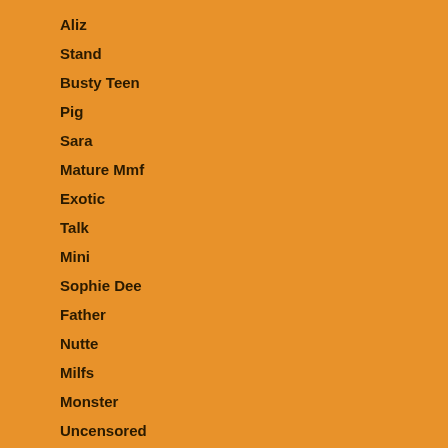Aliz
Stand
Busty Teen
Pig
Sara
Mature Mmf
Exotic
Talk
Mini
Sophie Dee
Father
Nutte
Milfs
Monster
Uncensored